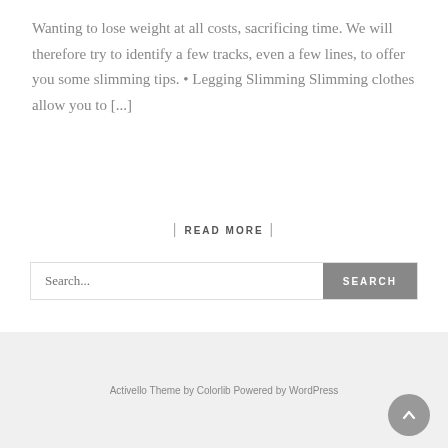Wanting to lose weight at all costs, sacrificing time. We will therefore try to identify a few tracks, even a few lines, to offer you some slimming tips. • Legging Slimming Slimming clothes allow you to [...]
| READ MORE |
Search...
Activello Theme by Colorlib Powered by WordPress